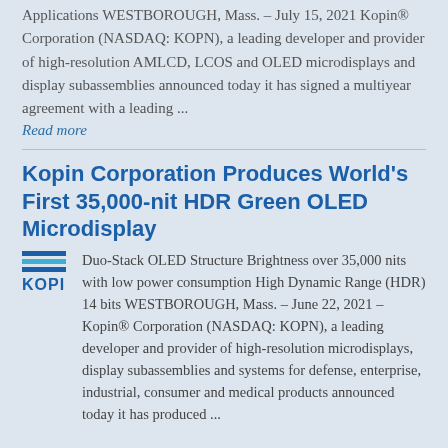Applications WESTBOROUGH, Mass. – July 15, 2021 Kopin® Corporation (NASDAQ: KOPN), a leading developer and provider of high-resolution AMLCD, LCOS and OLED microdisplays and display subassemblies announced today it has signed a multiyear agreement with a leading ...
Read more
Kopin Corporation Produces World's First 35,000-nit HDR Green OLED Microdisplay
[Figure (logo): Kopin Corporation logo with blue horizontal bars and KOPI text]
Duo-Stack OLED Structure Brightness over 35,000 nits with low power consumption High Dynamic Range (HDR) 14 bits WESTBOROUGH, Mass. – June 22, 2021 – Kopin® Corporation (NASDAQ: KOPN), a leading developer and provider of high-resolution microdisplays, display subassemblies and systems for defense, enterprise, industrial, consumer and medical products announced today it has produced ...